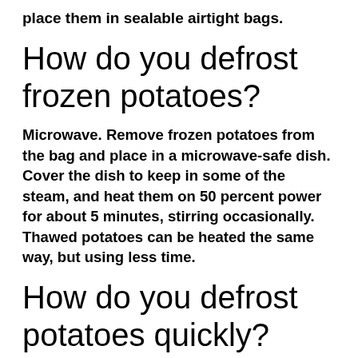place them in sealable airtight bags.
How do you defrost frozen potatoes?
Microwave. Remove frozen potatoes from the bag and place in a microwave-safe dish. Cover the dish to keep in some of the steam, and heat them on 50 percent power for about 5 minutes, stirring occasionally. Thawed potatoes can be heated the same way, but using less time.
How do you defrost potatoes quickly?